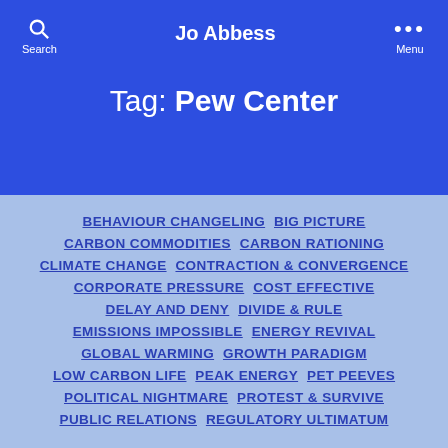Jo Abbess
Tag: Pew Center
BEHAVIOUR CHANGELING
BIG PICTURE
CARBON COMMODITIES
CARBON RATIONING
CLIMATE CHANGE
CONTRACTION & CONVERGENCE
CORPORATE PRESSURE
COST EFFECTIVE
DELAY AND DENY
DIVIDE & RULE
EMISSIONS IMPOSSIBLE
ENERGY REVIVAL
GLOBAL WARMING
GROWTH PARADIGM
LOW CARBON LIFE
PEAK ENERGY
PET PEEVES
POLITICAL NIGHTMARE
PROTEST & SURVIVE
PUBLIC RELATIONS
REGULATORY ULTIMATUM